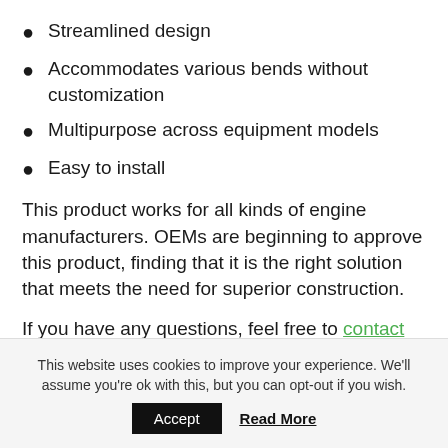Streamlined design
Accommodates various bends without customization
Multipurpose across equipment models
Easy to install
This product works for all kinds of engine manufacturers. OEMs are beginning to approve this product, finding that it is the right solution that meets the need for superior construction.
If you have any questions, feel free to contact us today! For additional resources, please see below:
This website uses cookies to improve your experience. We'll assume you're ok with this, but you can opt-out if you wish.